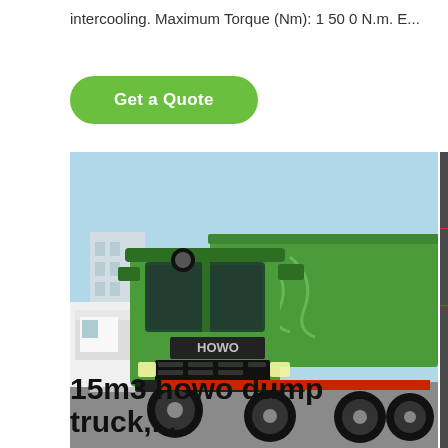intercooling. Maximum Torque (Nm): 1 50 0 N.m. E...
[Figure (other): Green 'Get a Quote' button with rounded corners]
[Figure (photo): A green HOWO dump truck photographed from a low front-side angle, parked in an outdoor lot with a white truck and buildings visible in the background.]
15m3 howo dump truck,...